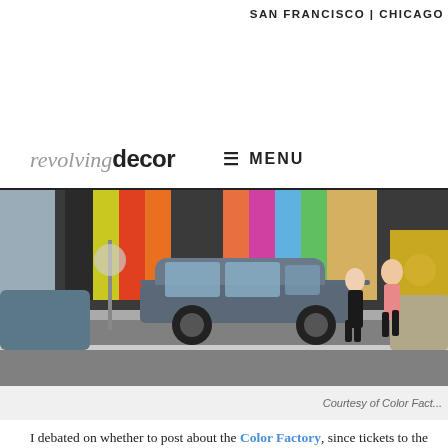SAN FRANCISCO | CHICAGO
[Figure (logo): revolving decor logo with italic 'revolving' in gray and bold 'decor' in black, followed by hamburger menu icon and MENU text]
[Figure (photo): Street scene in front of Color Factory with colorful striped wall, a gray SUV parked on the street, and two people walking on the sidewalk]
Courtesy of Color Fact...
I debated on whether to post about the Color Factory, since tickets to the pop-up exhibition have been sold out — twice.  Initially slated for the month of August, tickets sold out on opening day.  After announcing that Color Factory would extend its stay through